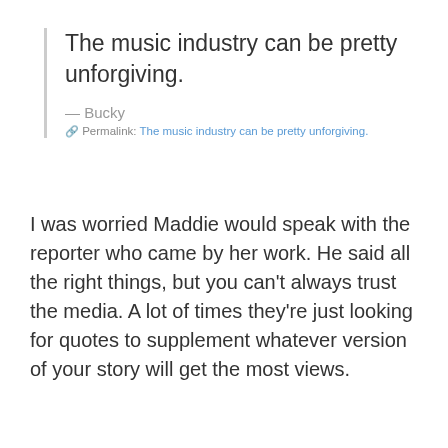The music industry can be pretty unforgiving.
— Bucky
Permalink: The music industry can be pretty unforgiving.
I was worried Maddie would speak with the reporter who came by her work. He said all the right things, but you can't always trust the media. A lot of times they're just looking for quotes to supplement whatever version of your story will get the most views.